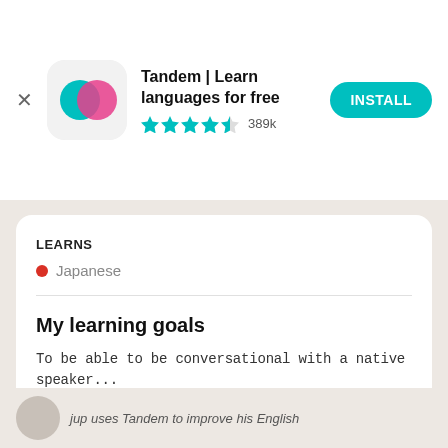[Figure (screenshot): Tandem app icon — teal and pink speech bubble overlapping on white rounded square background]
Tandem | Learn languages for free
★★★★½ 389k
INSTALL
LEARNS
Japanese
My learning goals
To be able to be conversational with a native speaker...
Read more
Get the app
jup uses Tandem to improve his English